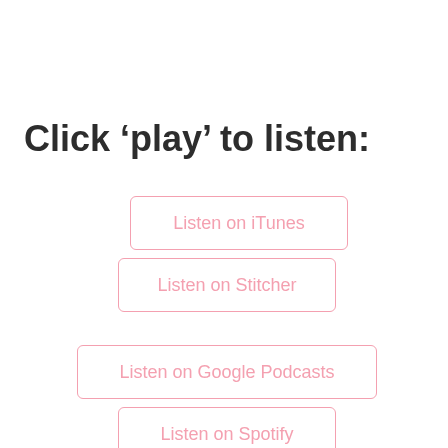Click ‘play’ to listen:
Listen on iTunes
Listen on Stitcher
Listen on Google Podcasts
Listen on Spotify